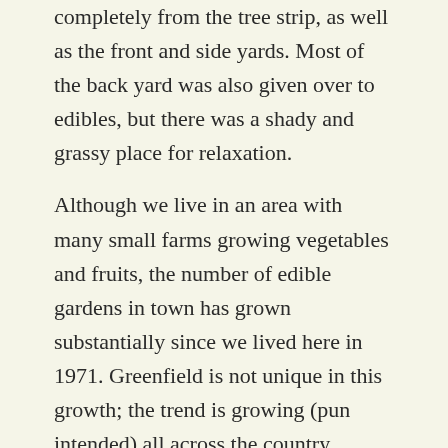completely from the tree strip, as well as the front and side yards. Most of the back yard was also given over to edibles, but there was a shady and grassy place for relaxation.
Although we live in an area with many small farms growing vegetables and fruits, the number of edible gardens in town has grown substantially since we lived here in 1971. Greenfield is not unique in this growth; the trend is growing (pun intended) all across the country.
Arthur's book is divided into three sections. She suggestions ways of organizing an edible garden around your house thinking about which plants are most used, like a salad or herb garden; which  plants need the most watering; and the edibles that need less daily care like fruits and berries. All zones include beautiful